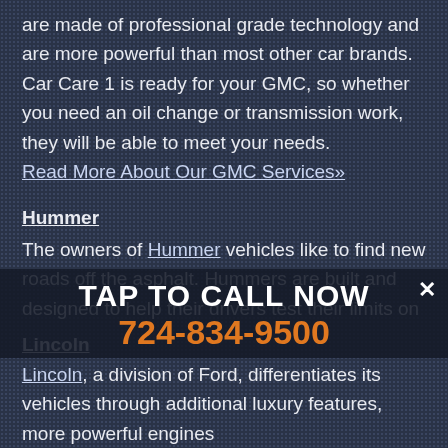are made of professional grade technology and are more powerful than most other car brands. Car Care 1 is ready for your GMC, so whether you need an oil change or transmission work, they will be able to meet your needs. Read More About Our GMC Services»
Hummer
The owners of Hummer vehicles like to find new roads off the asphalt. Hummers are built and designed to help their drivers test their limits on and off the road. Hummers are built for the outdoors and are some of the most reliable multipurpose vehicles on planet earth. Bring your Hummer to Car Care 1 today so you can continue your off-road journey. Read More About Our Hummer Services»
TAP TO CALL NOW
724-834-9500
Lincoln
Lincoln, a division of Ford, differentiates its vehicles through additional luxury features, more powerful engines and...